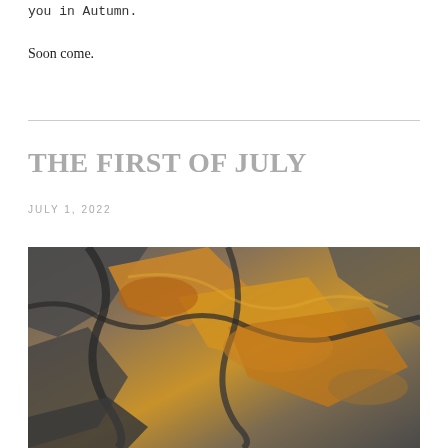you in Autumn.
Soon come.
THE FIRST OF JULY
JULY 1, 2022
[Figure (photo): Close-up photograph of rugged rock surface with brown, orange, grey and golden mineral streaks and textures]